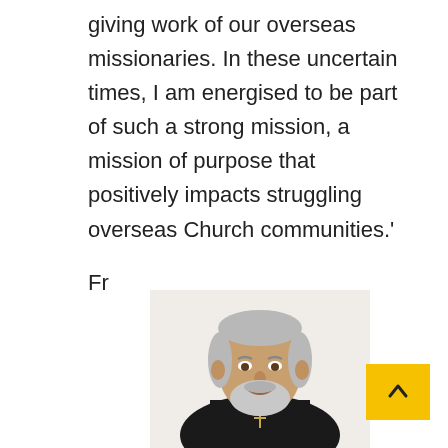giving work of our overseas missionaries. In these uncertain times, I am energised to be part of such a strong mission, a mission of purpose that positively impacts struggling overseas Church communities.'
Fr
[Figure (photo): Portrait photo of a middle-aged Catholic priest with grey-white hair and beard, wearing a black clerical collar and dark jacket with a cross necklace, smiling slightly.]